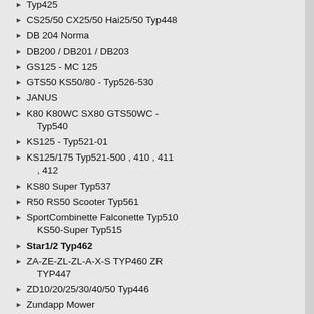Typ425
CS25/50 CX25/50 Hai25/50 Typ448
DB 204 Norma
DB200 / DB201 / DB203
GS125 - MC 125
GTS50 KS50/80 - Typ526-530
JANUS
K80 K80WC SX80 GTS50WC - Typ540
KS125 - Typ521-01
KS125/175 Typ521-500 , 410 , 411 , 412
KS80 Super Typ537
R50 RS50 Scooter Typ561
SportCombinette Falconette Typ510 KS50-Super Typ515
Star1/2 Typ462
ZA-ZE-ZL-ZL-A-X-S TYP460 ZR TYP447
ZD10/20/25/30/40/50 Typ446
Zundapp Mower
NEW BELLA R50 R125
ZXE125 ZXM125 ZRE125 ZRM125 ZXS125
ZXE50 ZXM50
ZXN125
BMW
CAGIVA
Chinese Scooter